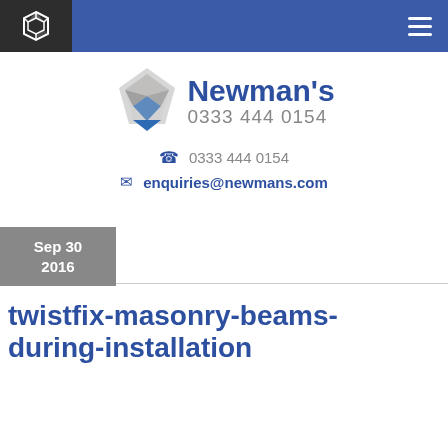Newman's 0333 444 0154 — navigation bar
[Figure (logo): Newman's company logo with cube icon, brand name 'Newman's' in bold blue, and phone number 0333 444 0154]
0333 444 0154
enquiries@newmans.com
Sep 30 2016
twistfix-masonry-beams-during-installation